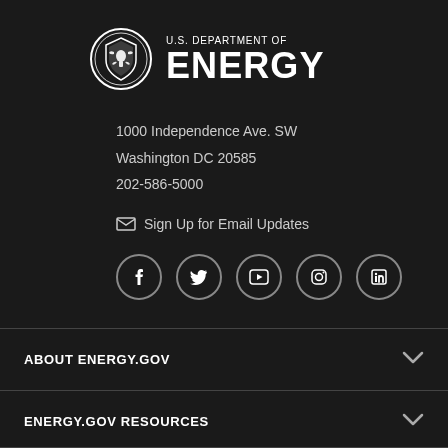[Figure (logo): U.S. Department of Energy logo with shield emblem and text 'U.S. DEPARTMENT OF ENERGY']
1000 Independence Ave. SW
Washington DC 20585
202-586-5000
Sign Up for Email Updates
[Figure (illustration): Row of five social media icon circles: Facebook, Twitter/X, YouTube, Instagram, LinkedIn]
ABOUT ENERGY.GOV
ENERGY.GOV RESOURCES